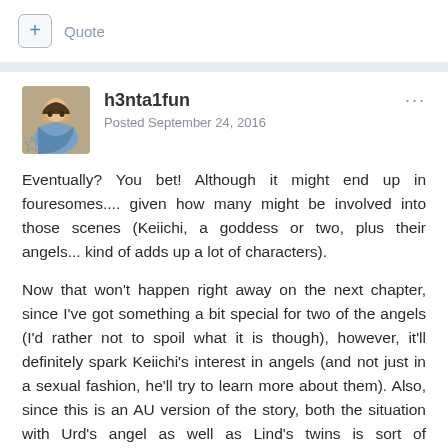+ Quote
h3nta1fun
Posted September 24, 2016
Eventually? You bet! Although it might end up in fouresomes.... given how many might be involved into those scenes (Keiichi, a goddess or two, plus their angels... kind of adds up a lot of characters).
Now that won't happen right away on the next chapter, since I've got something a bit special for two of the angels (I'd rather not to spoil what it is though), however, it'll definitely spark Keiichi's interest in angels (and not just in a sexual fashion, he'll try to learn more about them). Also, since this is an AU version of the story, both the situation with Urd's angel as well as Lind's twins is sort of unresolved as of yet. So, those situations will have to be eventually addressed too.
In the long run (maybe the chapter after the next one), you can